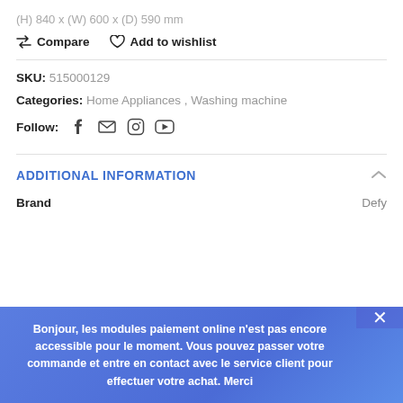(H) 840 x (W) 600 x (D) 590 mm
Compare   Add to wishlist
SKU: 515000129
Categories: Home Appliances , Washing machine
Follow:
ADDITIONAL INFORMATION
Brand   Defy
Bonjour, les modules paiement online n'est pas encore accessible pour le moment. Vous pouvez passer votre commande et entre en contact avec le service client pour effectuer votre achat. Merci